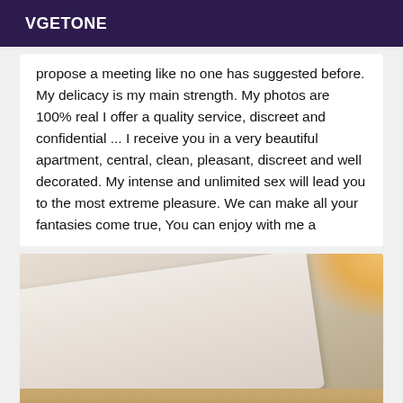VGETONE
propose a meeting like no one has suggested before. My delicacy is my main strength. My photos are 100% real I offer a quality service, discreet and confidential ... I receive you in a very beautiful apartment, central, clean, pleasant, discreet and well decorated. My intense and unlimited sex will lead you to the most extreme pleasure. We can make all your fantasies come true, You can enjoy with me a
[Figure (photo): Photo of a bed with white/cream sheets in a room, shot at an angle showing the mattress surface with warm light in the upper right corner and wooden floor visible at the bottom]